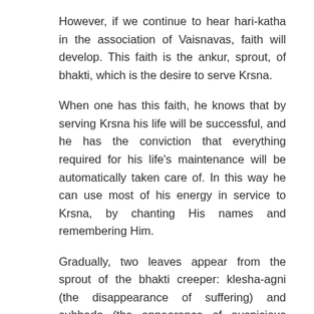However, if we continue to hear hari-katha in the association of Vaisnavas, faith will develop. This faith is the ankur, sprout, of bhakti, which is the desire to serve Krsna.
When one has this faith, he knows that by serving Krsna his life will be successful, and he has the conviction that everything required for his life's maintenance will be automatically taken care of. In this way he can use most of his energy in service to Krsna, by chanting His names and remembering Him.
Gradually, two leaves appear from the sprout of the bhakti creeper: klesha-agni (the disappearance of suffering) and subhada (the appearance of auspicious qualities) and after that two more appear, and then again two more.
In the very beginning, before taking diksa, when one